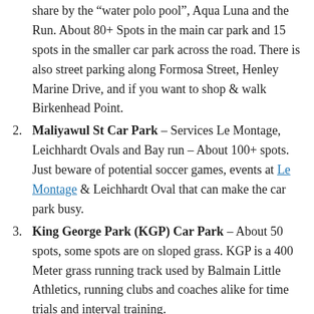share by the “water polo pool”, Aqua Luna and the Run. About 80+ Spots in the main car park and 15 spots in the smaller car park across the road. There is also street parking along Formosa Street, Henley Marine Drive, and if you want to shop & walk Birkenhead Point.
Maliyawul St Car Park – Services Le Montage, Leichhardt Ovals and Bay run – About 100+ spots. Just beware of potential soccer games, events at Le Montage & Leichhardt Oval that can make the car park busy.
King George Park (KGP) Car Park – About 50 spots, some spots are on sloped grass. KGP is a 400 Meter grass running track used by Balmain Little Athletics, running clubs and coaches alike for time trials and interval training.
Clockwise or Anti-Clockwise?